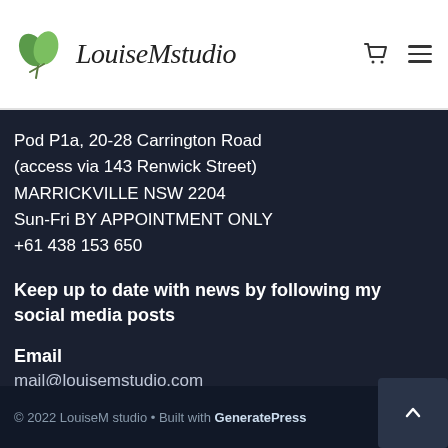[Figure (logo): LouiseM studio logo with leaf/ginkgo icon and handwritten-style text]
Pod P1a, 20-28 Carrington Road (access via 143 Renwick Street) MARRICKVILLE NSW 2204 Sun-Fri BY APPOINTMENT ONLY +61 438 153 650
Keep up to date with news by following my social media posts
Email
mail@louisemstudio.com
© 2022 LouiseM studio • Built with GeneratePress